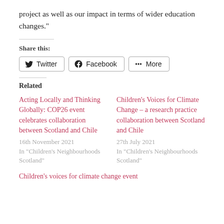project as well as our impact in terms of wider education changes."
Share this:
[Figure (other): Social share buttons: Twitter, Facebook, More]
Related
Acting Locally and Thinking Globally: COP26 event celebrates collaboration between Scotland and Chile
16th November 2021
In "Children's Neighbourhoods Scotland"
Children's Voices for Climate Change – a research practice collaboration between Scotland and Chile
27th July 2021
In "Children's Neighbourhoods Scotland"
Children's voices for climate change event